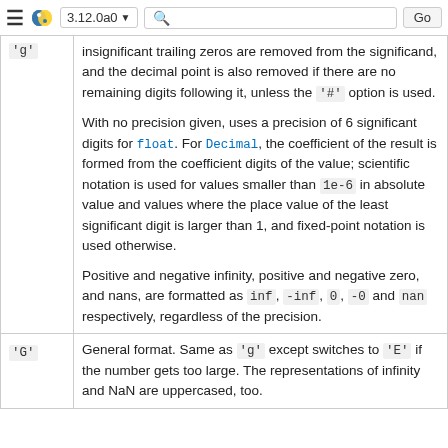≡ 🐍 3.12.0a0▼  🔍  Go
| Key | Description |
| --- | --- |
| 'g' | insignificant trailing zeros are removed from the significand, and the decimal point is also removed if there are no remaining digits following it, unless the '#' option is used.

With no precision given, uses a precision of 6 significant digits for float. For Decimal, the coefficient of the result is formed from the coefficient digits of the value; scientific notation is used for values smaller than 1e-6 in absolute value and values where the place value of the least significant digit is larger than 1, and fixed-point notation is used otherwise.

Positive and negative infinity, positive and negative zero, and nans, are formatted as inf, -inf, 0, -0 and nan respectively, regardless of the precision. |
| 'G' | General format. Same as 'g' except switches to 'E' if the number gets too large. The representations of infinity and NaN are uppercased, too. |